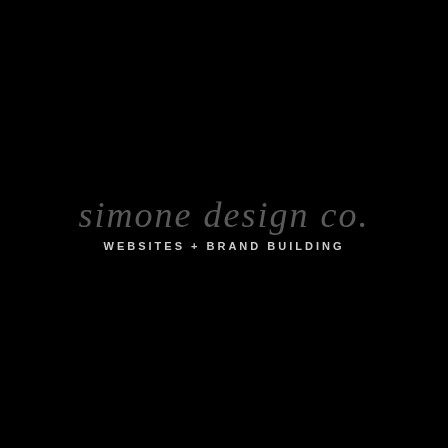simone design co.
WEBSITES + BRAND BUILDING